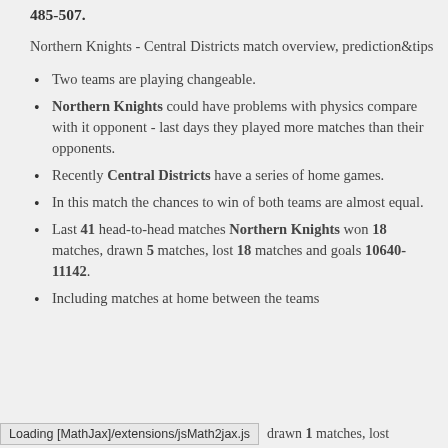485-507.
Northern Knights - Central Districts match overview, prediction&tips
Two teams are playing changeable.
Northern Knights could have problems with physics compare with it opponent - last days they played more matches than their opponents.
Recently Central Districts have a series of home games.
In this match the chances to win of both teams are almost equal.
Last 41 head-to-head matches Northern Knights won 18 matches, drawn 5 matches, lost 18 matches and goals 10640-11142.
Including matches at home between the teams
Loading [MathJax]/extensions/jsMath2jax.js     drawn 1 matches, lost